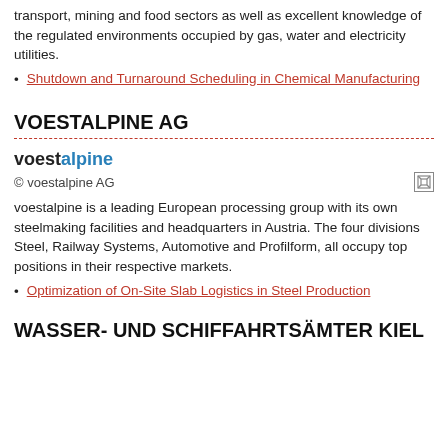transport, mining and food sectors as well as excellent knowledge of the regulated environments occupied by gas, water and electricity utilities.
Shutdown and Turnaround Scheduling in Chemical Manufacturing
VOESTALPINE AG
[Figure (logo): voestalpine logo with 'voest' in bold dark and 'alpine' in blue]
© voestalpine AG
voestalpine is a leading European processing group with its own steelmaking facilities and headquarters in Austria. The four divisions Steel, Railway Systems, Automotive and Profilform, all occupy top positions in their respective markets.
Optimization of On-Site Slab Logistics in Steel Production
WASSER- UND SCHIFFAHRTSÄMTER KIEL